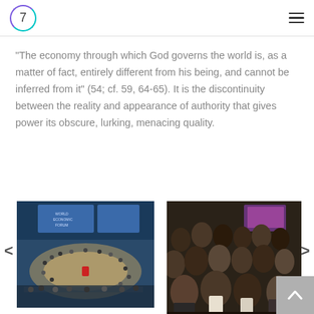7
“The economy through which God governs the world is, as a matter of fact, entirely different from his being, and cannot be inferred from it” (54; cf. 59, 64-65). It is the discontinuity between the reality and appearance of authority that gives power its obscure, lurking, menacing quality.
[Figure (photo): Wide-angle overhead view of a large conference hall with circular seating arrangement, a stage with blue screens reading 'World Economic Forum', attendees seated around central area]
[Figure (photo): Crowd of people in business attire, mostly men of African descent, gathered closely together in what appears to be an indoor event with a TV screen visible in background]